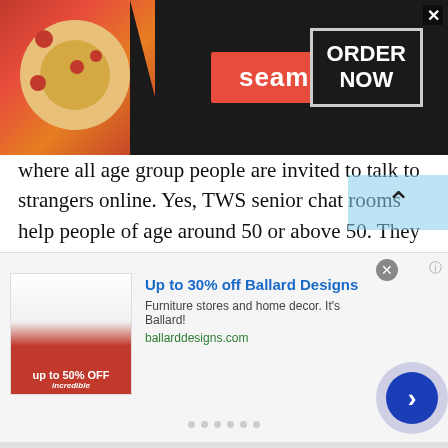[Figure (screenshot): Top advertisement banner for Seamless food delivery. Dark background with pizza image on left, red 'seamless' badge in center, and 'ORDER NOW' box with border on right. Close X button in top-right corner.]
where all age group people are invited to talk to strangers online. Yes, TWS senior chat rooms help people of age around 50 or above 50. They can enjoy talking to strangers in Kenya or other countries and find their desired partners.
At TWS senior chat rooms, old age people can surely find the same age group partners to whom they can share their interests. Isn't it so convenient for seniors to spend their time full of fun and joy? Well, for sure, it is convenient as when no one is
[Figure (screenshot): Bottom advertisement banner for Ballard Designs. Shows thumbnail image, bold blue title 'Up to 30% off Ballard Designs', description text 'Furniture stores and home decor. It's Ballard!', green URL 'ballarddesigns.com', navigation dots, and blue circular next button with chevron.]